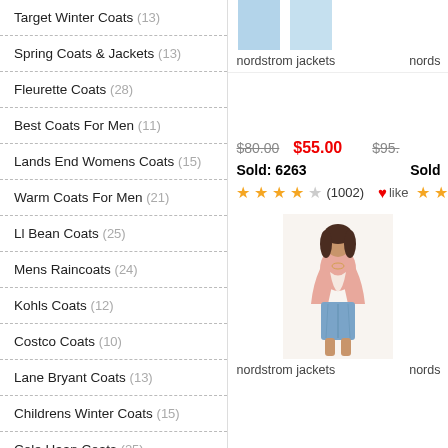Target Winter Coats (13)
Spring Coats & Jackets (13)
Fleurette Coats (28)
Best Coats For Men (11)
Lands End Womens Coats (15)
Warm Coats For Men (21)
Ll Bean Coats (25)
Mens Raincoats (24)
Kohls Coats (12)
Costco Coats (10)
Lane Bryant Coats (13)
Childrens Winter Coats (15)
Cole Haan Coats (25)
Women'S Coats & Jackets With Hood (24)
Men'S Coats & Jackets With Hood (25)
[Figure (screenshot): Product listing with two blue jacket thumbnail images, labels 'nordstrom jackets' and 'nords...', price $80.00 crossed out with $55.00 in red, Sold: 6263, 4-star rating (1002 reviews), a like button with heart icon and stars, and a photo of a woman in a pink blazer and denim skirt labeled 'nordstrom jackets']